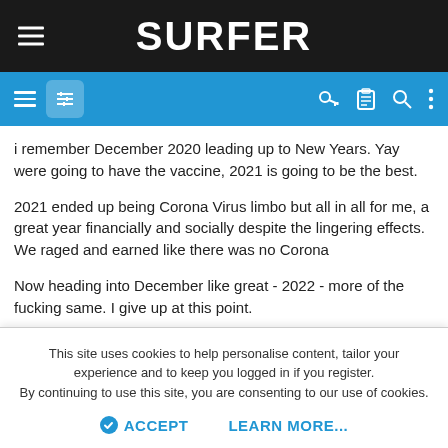SURFER
i remember December 2020 leading up to New Years. Yay were going to have the vaccine, 2021 is going to be the best.
2021 ended up being Corona Virus limbo but all in all for me, a great year financially and socially despite the lingering effects. We raged and earned like there was no Corona
Now heading into December like great - 2022 - more of the fucking same. I give up at this point.
hal9000 and grapedrink
This site uses cookies to help personalise content, tailor your experience and to keep you logged in if you register.
By continuing to use this site, you are consenting to our use of cookies.
ACCEPT   LEARN MORE...